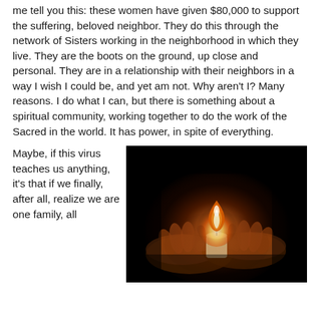me tell you this: these women have given $80,000 to support the suffering, beloved neighbor. They do this through the network of Sisters working in the neighborhood in which they live. They are the boots on the ground, up close and personal. They are in a relationship with their neighbors in a way I wish I could be, and yet am not. Why aren't I? Many reasons. I do what I can, but there is something about a spiritual community, working together to do the work of the Sacred in the world. It has power, in spite of everything.
Maybe, if this virus teaches us anything, it's that if we finally, after all, realize we are one family, all
[Figure (photo): A dark photograph showing two hands cupped around a lit candle with a warm flame, set against a black background.]